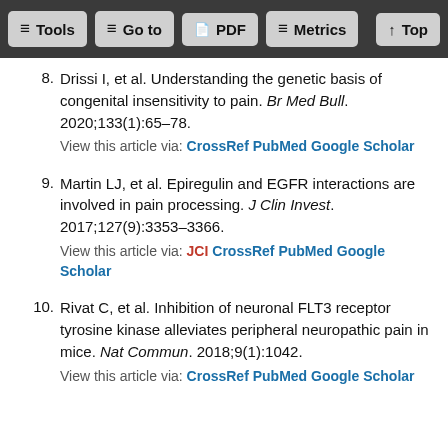Tools  Go to  PDF  Metrics  Top
8. Drissi I, et al. Understanding the genetic basis of congenital insensitivity to pain. Br Med Bull. 2020;133(1):65–78.
View this article via: CrossRef PubMed Google Scholar
9. Martin LJ, et al. Epiregulin and EGFR interactions are involved in pain processing. J Clin Invest. 2017;127(9):3353–3366.
View this article via: JCI CrossRef PubMed Google Scholar
10. Rivat C, et al. Inhibition of neuronal FLT3 receptor tyrosine kinase alleviates peripheral neuropathic pain in mice. Nat Commun. 2018;9(1):1042.
View this article via: CrossRef PubMed Google Scholar